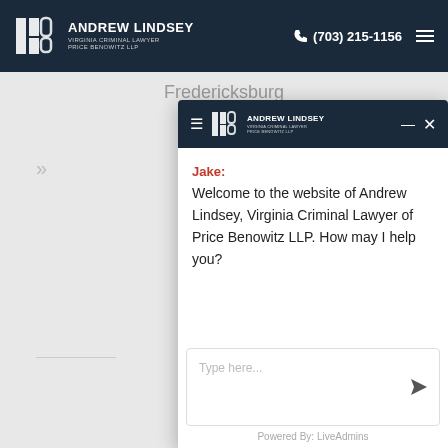Andrew Lindsey Virginia Criminal Lawyer Price Benowitz LLP | (703) 215-1156
Fredericksburg
[Figure (screenshot): Chat widget overlay with Andrew Lindsey law firm branding, showing a welcome message from Jake and a text input area]
Jake: Welcome to the website of Andrew Lindsey, Virginia Criminal Lawyer of Price Benowitz LLP. How may I help you?
Type here...
Powered By: LiveAdmins